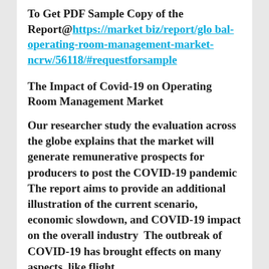To Get PDF Sample Copy of the Report@https://marketbiz/report/global-operating-room-management-market-ncrw/56118/#requestforsample
The Impact of Covid-19 on Operating Room Management Market
Our researcher study the evaluation across the globe explains that the market will generate remunerative prospects for producers to post the COVID-19 pandemic  The report aims to provide an additional illustration of the current scenario, economic slowdown, and COVID-19 impact on the overall industry  The outbreak of COVID-19 has brought effects on many aspects, like flight